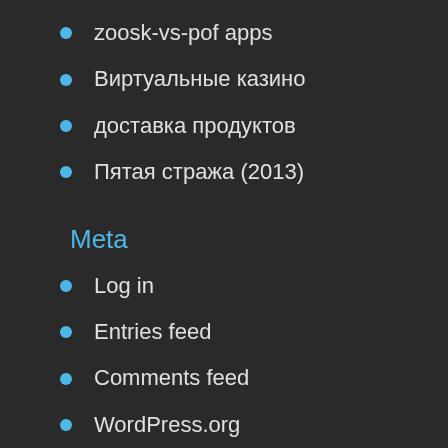zoosk-vs-pof apps
Виртуальные казино
доставка продуктов
Пятая стража (2013)
Meta
Log in
Entries feed
Comments feed
WordPress.org